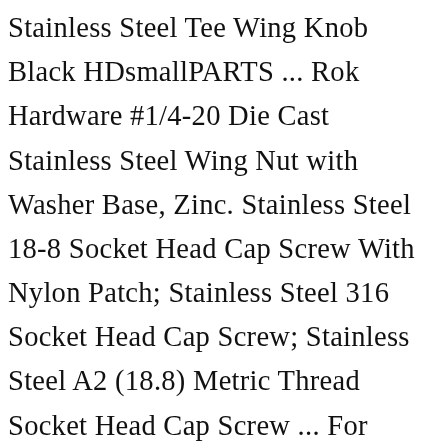Stainless Steel Tee Wing Knob Black HDsmallPARTS ... Rok Hardware #1/4-20 Die Cast Stainless Steel Wing Nut with Washer Base, Zinc. Stainless Steel 18-8 Socket Head Cap Screw With Nylon Patch; Stainless Steel 316 Socket Head Cap Screw; Stainless Steel A2 (18.8) Metric Thread Socket Head Cap Screw ... For partnering bolts for Toggle Wing Nuts, see Pan Head Machine Screws or Truss Head Machine Screws. ... SNAPTOGGLE® toggle bolt is made in the USA and installs fastest and holds the most weight in the smallest hole of all toggle bolts; up to 2x th